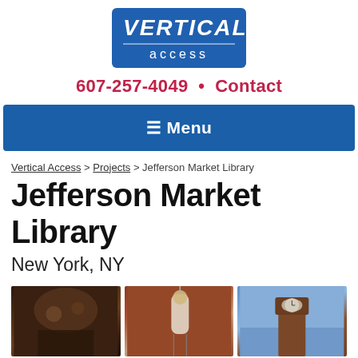[Figure (logo): Vertical Access company logo — blue rounded rectangle with 'VERTICAL' in bold white italic uppercase and 'access' in white lowercase letters below]
607-257-4049  •  Contact
≡ Menu
Vertical Access > Projects > Jefferson Market Library
Jefferson Market Library
New York, NY
[Figure (photo): Three photos of Jefferson Market Library facade inspection work: left photo shows workers on building ornamentation close-up, center photo shows a worker in white suit rappelling on red brick wall, right photo shows the library tower/clock tower against blue sky]